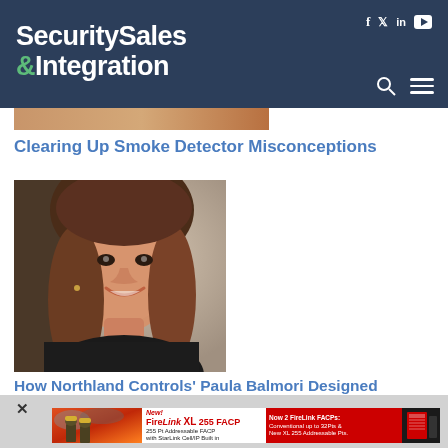Security Sales & Integration
Clearing Up Smoke Detector Misconceptions
[Figure (photo): Portrait photo of a smiling woman with long brown hair, wearing a dark top]
How Northland Controls' Paula Balmori Designed
[Figure (infographic): Advertisement for FireLink XL 255 FACP showing firefighters and product details. New! FireLink XL 255 FACP. 255 Pt Addressable FACP with StarLink Cell/IP Built in. Now 2 FireLink FACPs: Conventional up to 32Pts & New XL 255 Addressable Pts.]